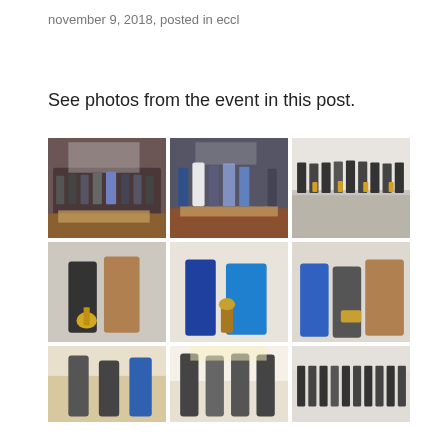november 9, 2018, posted in eccl
See photos from the event in this post.
[Figure (photo): Grid of 9 photographs from a cricket awards event showing groups of people with trophies and individuals receiving awards.]